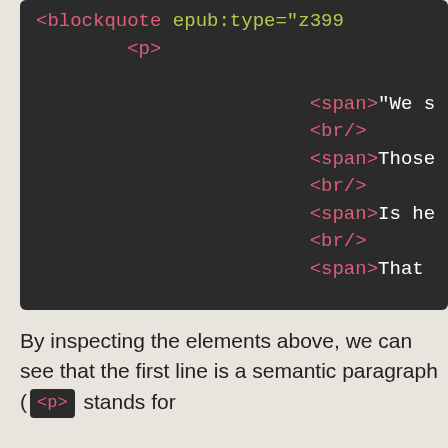[Figure (screenshot): Code editor screenshot showing HTML markup with blockquote, p, span, and br elements on a dark background. Visible lines include: <blockquote epub:type="z399, <p>, <span>"We s, <br/>, <span>Those, <br/>, <span>Is he, <br/>, <span>That, </p>, </blockquote>]
By inspecting the elements above, we can see that the first line is a semantic paragraph ( <p> stands for